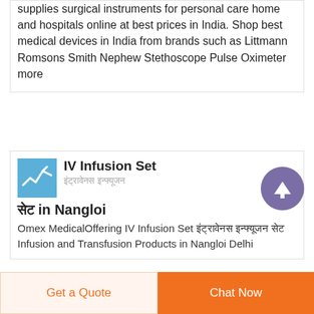supplies surgical instruments for personal care home and hospitals online at best prices in India. Shop best medical devices in India from brands such as Littmann Romsons Smith Nephew Stethoscope Pulse Oximeter more
[Figure (photo): Blue product image with a checkmark/line graph icon for IV Infusion Set]
IV Infusion Set
इंट्रावेनस इन्फ्यूजन
सेट in Nangloi
Omex MedicalOffering IV Infusion Set इंट्रावेनस इन्फ्यूजन सेट Infusion and Transfusion Products in Nangloi Delhi
Get a Quote
Chat Now